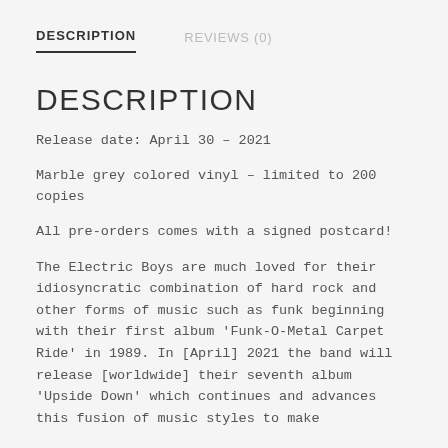DESCRIPTION   REVIEWS (0)
DESCRIPTION
Release date: April 30 – 2021
Marble grey colored vinyl – limited to 200 copies
All pre-orders comes with a signed postcard!
The Electric Boys are much loved for their idiosyncratic combination of hard rock and other forms of music such as funk beginning with their first album 'Funk-O-Metal Carpet Ride' in 1989. In [April] 2021 the band will release [worldwide] their seventh album 'Upside Down' which continues and advances this fusion of music styles to make